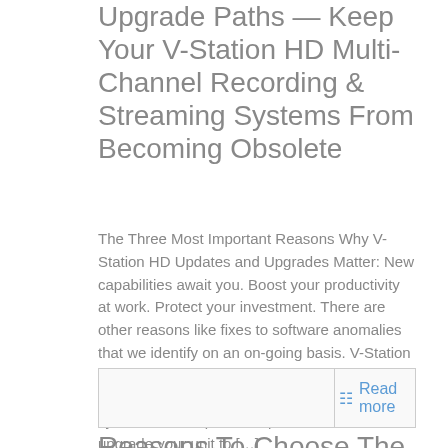Upgrade Paths — Keep Your V-Station HD Multi-Channel Recording & Streaming Systems From Becoming Obsolete
The Three Most Important Reasons Why V-Station HD Updates and Upgrades Matter: New capabilities await you. Boost your productivity at work. Protect your investment. There are other reasons like fixes to software anomalies that we identify on an on-going basis. V-Station HD System Upgrades: Get Up to 8 Channel Inputs If you own a V-Station HD Studio4 system with 4 inputs, it is possible now to upgrade your unit to […]
Read more
Reasons To Choose The V-